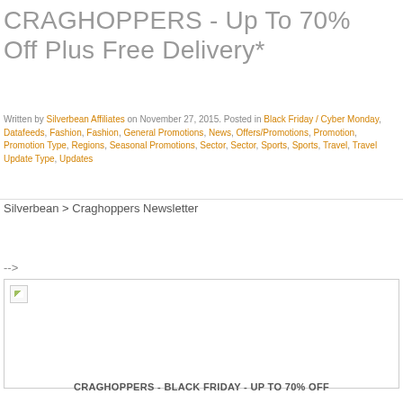CRAGHOPPERS - Up To 70% Off Plus Free Delivery*
Written by Silverbean Affiliates on November 27, 2015. Posted in Black Friday / Cyber Monday, Datafeeds, Fashion, Fashion, General Promotions, News, Offers/Promotions, Promotion, Promotion Type, Regions, Seasonal Promotions, Sector, Sector, Sports, Sports, Travel, Travel Update Type, Updates
Silverbean > Craghoppers Newsletter
-->
[Figure (photo): Broken image placeholder with small icon]
CRAGHOPPERS - BLACK FRIDAY - UP TO 70% OFF